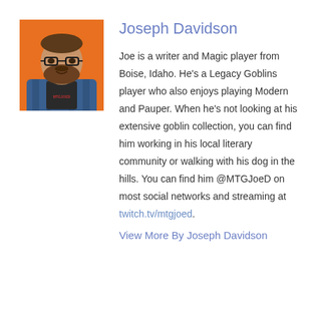[Figure (photo): Headshot photo of Joseph Davidson, a bearded man with glasses wearing a plaid shirt, against an orange background]
Joseph Davidson
Joe is a writer and Magic player from Boise, Idaho. He's a Legacy Goblins player who also enjoys playing Modern and Pauper. When he's not looking at his extensive goblin collection, you can find him working in his local literary community or walking with his dog in the hills. You can find him @MTGJoeD on most social networks and streaming at twitch.tv/mtgjoed.
View More By Joseph Davidson